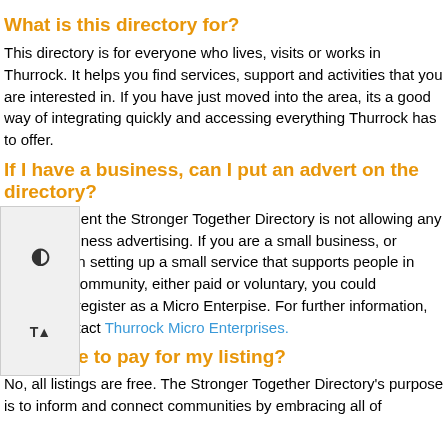What is this directory for?
This directory is for everyone who lives, visits or works in Thurrock. It helps you find services, support and activities that you are interested in. If you have just moved into the area, its a good way of integrating quickly and accessing everything Thurrock has to offer.
If I have a business, can I put an advert on the directory?
At the moment the Stronger Together Directory is not allowing any private business advertising. If you are a small business, or interested in setting up a small service that supports people in your local community, either paid or voluntary, you could potentially register as a Micro Enterpise. For further information, please contact Thurrock Micro Enterprises.
Do I have to pay for my listing?
No, all listings are free. The Stronger Together Directory's purpose is to inform and connect communities by embracing all of